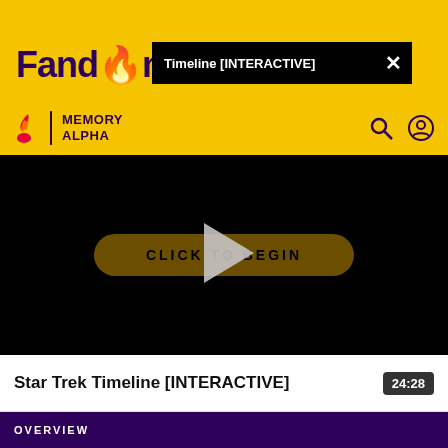[Figure (screenshot): Fandom website header with yellow background showing Fandom logo and Memory Alpha branding, notification bar overlay reading 'Timeline [INTERACTIVE]' with X close button, search and user icons]
[Figure (screenshot): Video player with black background showing a 'CLICK TO BEGIN' button in dark yellow/brown rounded rectangle, and a large gray play button triangle overlay in the center]
Star Trek Timeline [INTERACTIVE]
24:28
OVERVIEW
What is Fandom?
Terms of Use
About
Privacy Policy